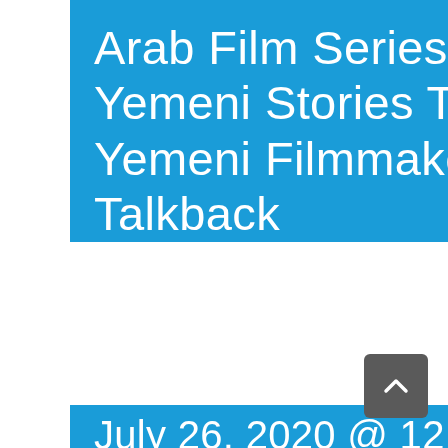Arab Film Series Online: Yemeni Stories Told by Yemeni Filmmakers + Talkback
July 26, 2020 @ 12:00 pm - 2:0
Yemeni Stories Told by Yemeni Filmmakers + Talkback
12 pm Pacific (3 pm Eastern) on Sunday, July 26, 2020
Yemen, United States / Documentary / Rated PG13
In Arabic and English with English subtitles
Total runtime 71 minutes
Following the screening will be an intimate talkback with filmmakers...